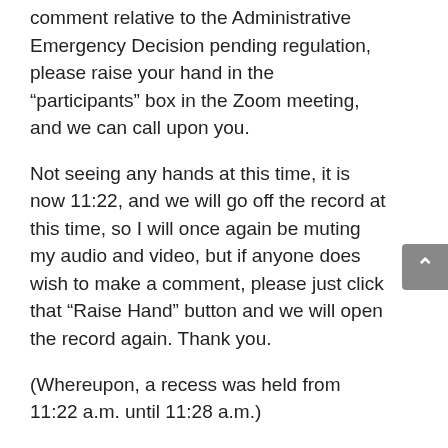A reminder: If anyone wishes to make a public comment relative to the Administrative Emergency Decision pending regulation, please raise your hand in the "participants" box in the Zoom meeting, and we can call upon you.
Not seeing any hands at this time, it is now 11:22, and we will go off the record at this time, so I will once again be muting my audio and video, but if anyone does wish to make a comment, please just click that "Raise Hand" button and we will open the record again. Thank you.
(Whereupon, a recess was held from 11:22 a.m. until 11:28 a.m.)
MR. DE RUYTER: All right. I apologize; had to step from the meeting for a moment, but we do have a raised hand, so we'll be going on the record. It is now 11:28.